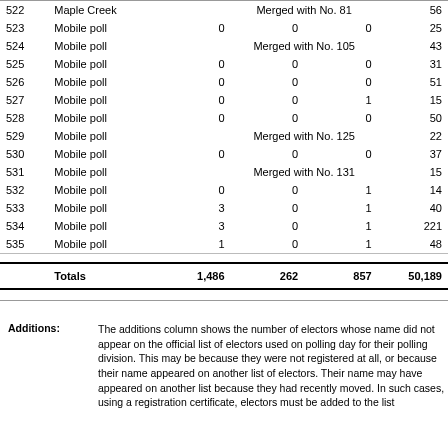| No. | Polling Division | Additions | Rejected Ballots | Unused Ballots | Electors on List |
| --- | --- | --- | --- | --- | --- |
| 522 | Maple Creek |  | Merged with No. 81 |  | 56 |
| 523 | Mobile poll | 0 | 0 | 0 | 25 |
| 524 | Mobile poll |  | Merged with No. 105 |  | 43 |
| 525 | Mobile poll | 0 | 0 | 0 | 31 |
| 526 | Mobile poll | 0 | 0 | 0 | 51 |
| 527 | Mobile poll | 0 | 0 | 1 | 15 |
| 528 | Mobile poll | 0 | 0 | 0 | 50 |
| 529 | Mobile poll |  | Merged with No. 125 |  | 22 |
| 530 | Mobile poll | 0 | 0 | 0 | 37 |
| 531 | Mobile poll |  | Merged with No. 131 |  | 15 |
| 532 | Mobile poll | 0 | 0 | 1 | 14 |
| 533 | Mobile poll | 3 | 0 | 1 | 40 |
| 534 | Mobile poll | 3 | 0 | 1 | 221 |
| 535 | Mobile poll | 1 | 0 | 1 | 48 |
|  | Totals | 1,486 | 262 | 857 | 50,189 |
Additions: The additions column shows the number of electors whose name did not appear on the official list of electors used on polling day for their polling division. This may be because they were not registered at all, or because their name appeared on another list of electors. Their name may have appeared on another list because they had recently moved. In such cases, using a registration certificate, electors must be added to the list